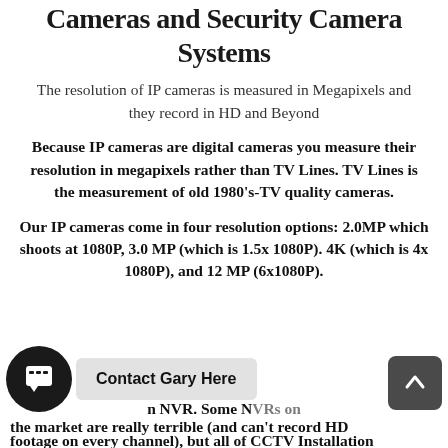Cameras and Security Camera Systems
The resolution of IP cameras is measured in Megapixels and they record in HD and Beyond
Because IP cameras are digital cameras you measure their resolution in megapixels rather than TV Lines. TV Lines is the measurement of old 1980's-TV quality cameras.
Our IP cameras come in four resolution options: 2.0MP which shoots at 1080P, 3.0 MP (which is 1.5x 1080P). 4K (which is 4x 1080P), and 12 MP (6x1080P).
Contact Gary Here
n NVR. Some NVRs on the market are really terrible (and can't record HD footage on every channel), but all of CCTV Installation